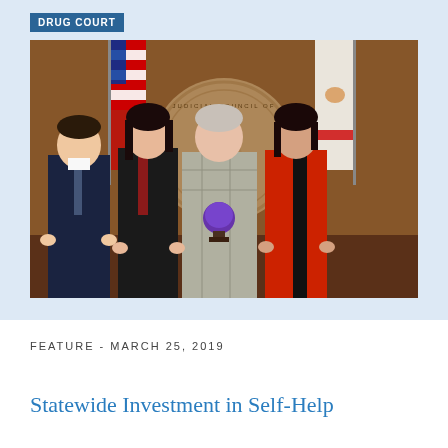DRUG COURT
[Figure (photo): Four people standing in front of a Judicial Council of California seal flanked by American and California state flags. The person in the center is holding a purple globe award trophy. From left: a man in a dark suit, a woman in a black jacket, a woman in a grey plaid blazer holding the award, and a woman in a red blazer.]
FEATURE - MARCH 25, 2019
Statewide Investment in Self-Help